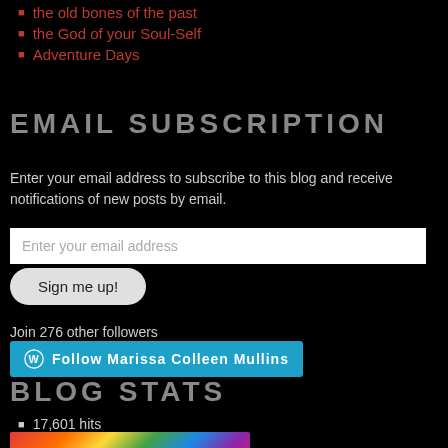the old bones of the past
the God of your Soul-Self
Adventure Days
EMAIL SUBSCRIPTION
Enter your email address to subscribe to this blog and receive notifications of new posts by email.
Enter your email address
Sign me up!
Join 276 other followers
Follow Marissa Colleen Mullins
BLOG STATS
17,601 hits
[Figure (photo): Colorful abstract image at the bottom of the page]